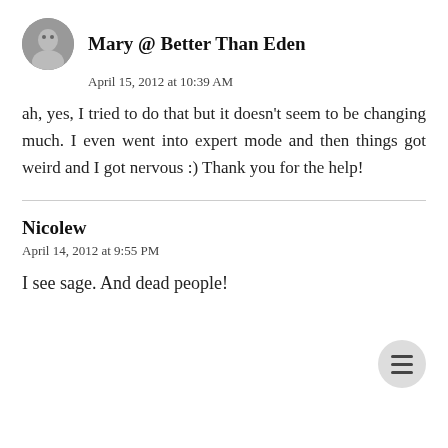[Figure (photo): Circular avatar photo of Mary]
Mary @ Better Than Eden
April 15, 2012 at 10:39 AM
ah, yes, I tried to do that but it doesn't seem to be changing much. I even went into expert mode and then things got weird and I got nervous :) Thank you for the help!
Nicolew
April 14, 2012 at 9:55 PM
I see sage. And dead people!